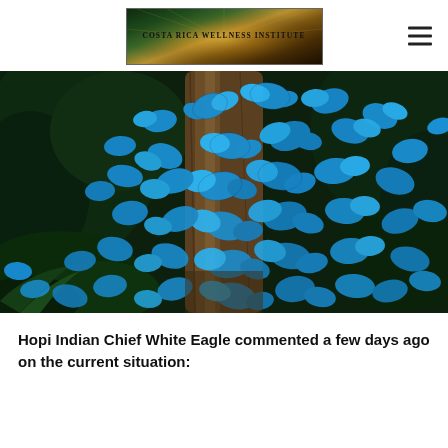[Figure (logo): Costa Rica Wellness Institute logo with nature/sunburst background]
[Figure (photo): Large group of vivid blue Morpho butterflies clustered on and around a tree trunk in a lush green tropical forest]
Hopi Indian Chief White Eagle commented a few days ago on the current situation: